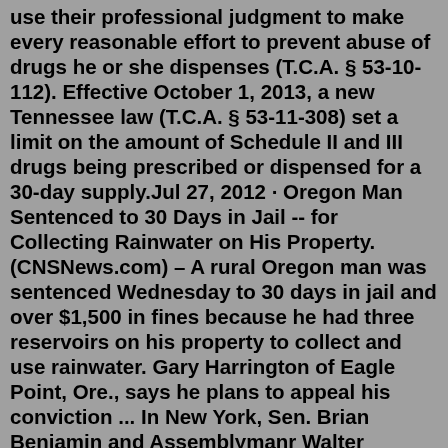use their professional judgment to make every reasonable effort to prevent abuse of drugs he or she dispenses (T.C.A. § 53-10-112). Effective October 1, 2013, a new Tennessee law (T.C.A. § 53-11-308) set a limit on the amount of Schedule II and III drugs being prescribed or dispensed for a 30-day supply.Jul 27, 2012 · Oregon Man Sentenced to 30 Days in Jail -- for Collecting Rainwater on His Property. (CNSNews.com) – A rural Oregon man was sentenced Wednesday to 30 days in jail and over $1,500 in fines because he had three reservoirs on his property to collect and use rainwater. Gary Harrington of Eagle Point, Ore., says he plans to appeal his conviction ... In New York, Sen. Brian Benjamin and Assemblymanr Walter Mosley have authored the Less is More Act.It would incentivize good behavior on parole by granting 30 days of earned time for every 30 days ...Your rights. Federal law provides special protections for prisoners' religious exercise. If a prison policy, rule, or practice significantly impedes your ability to practice your sincerely held religious